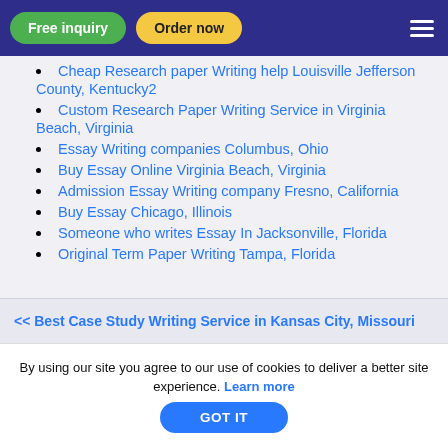Free inquiry | Order now
Cheap Research paper Writing help Louisville Jefferson County, Kentucky2
Custom Research Paper Writing Service in Virginia Beach, Virginia
Essay Writing companies Columbus, Ohio
Buy Essay Online Virginia Beach, Virginia
Admission Essay Writing company Fresno, California
Buy Essay Chicago, Illinois
Someone who writes Essay In Jacksonville, Florida
Original Term Paper Writing Tampa, Florida
<< Best Case Study Writing Service in Kansas City, Missouri
By using our site you agree to our use of cookies to deliver a better site experience. Learn more
GOT IT